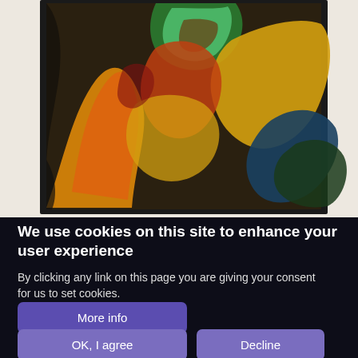[Figure (photo): Abstract colorful painting with orange, yellow, green and blue swirling forms against a dark background, displayed in a dark frame on a light background]
Simon Angwin
Painter
75b
We use cookies on this site to enhance your user experience
By clicking any link on this page you are giving your consent for us to set cookies.
More info
OK, I agree
Decline